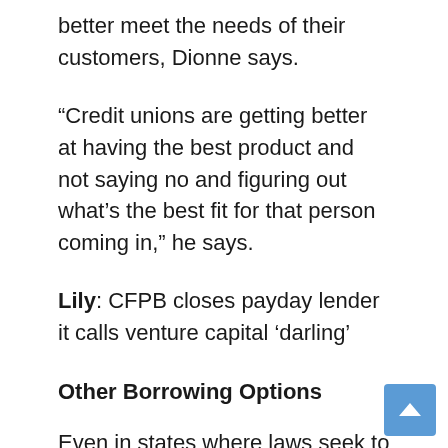better meet the needs of their customers, Dionne says.
“Credit unions are getting better at having the best product and not saying no and figuring out what’s the best fit for that person coming in,” he says.
Lily: CFPB closes payday lender it calls venture capital ‘darling’
Other Borrowing Options
Even in states where laws seek to ban payday loans altogether, people can find alternatives to risky borrowingsays Charla Rios, researcher on